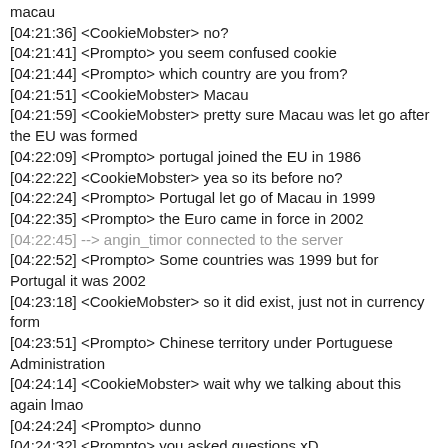macau
[04:21:36] <CookieMobster> no?
[04:21:41] <Prompto> you seem confused cookie
[04:21:44] <Prompto> which country are you from?
[04:21:51] <CookieMobster> Macau
[04:21:59] <CookieMobster> pretty sure Macau was let go after the EU was formed
[04:22:09] <Prompto> portugal joined the EU in 1986
[04:22:22] <CookieMobster> yea so its before no?
[04:22:24] <Prompto> Portugal let go of Macau in 1999
[04:22:35] <Prompto> the Euro came in force in 2002
[04:22:45] --> angin_timor connected to the server
[04:22:52] <Prompto> Some countries was 1999 but for Portugal it was 2002
[04:23:18] <CookieMobster> so it did exist, just not in currency form
[04:23:51] <Prompto> Chinese territory under Portuguese Administration
[04:24:14] <CookieMobster> wait why we talking about this again lmao
[04:24:24] <Prompto> dunno
[04:24:32] <Prompto> you asked questions xD
[04:25:00] <CookieMobster> Oh I was just confused why did you say Macau was controlled by germany
[04:25:05] --> angin_timor connected to the server
[04:25:10] <Prompto> oh that was just to trigger david